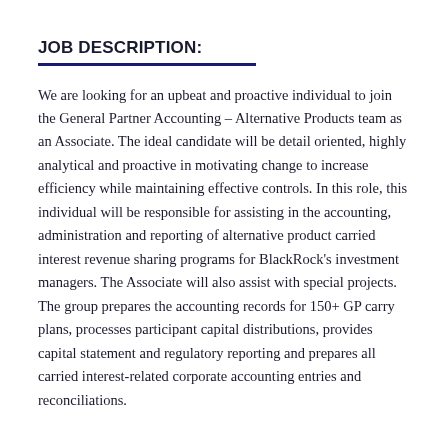JOB DESCRIPTION:
We are looking for an upbeat and proactive individual to join the General Partner Accounting – Alternative Products team as an Associate. The ideal candidate will be detail oriented, highly analytical and proactive in motivating change to increase efficiency while maintaining effective controls. In this role, this individual will be responsible for assisting in the accounting, administration and reporting of alternative product carried interest revenue sharing programs for BlackRock's investment managers. The Associate will also assist with special projects. The group prepares the accounting records for 150+ GP carry plans, processes participant capital distributions, provides capital statement and regulatory reporting and prepares all carried interest-related corporate accounting entries and reconciliations.